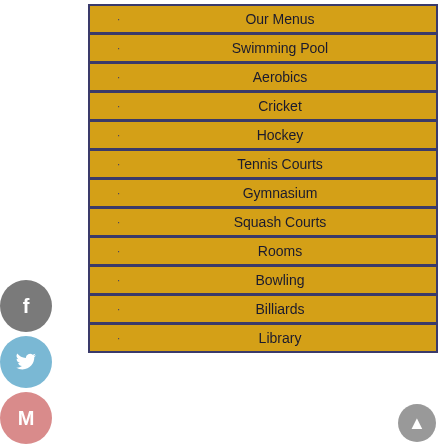|  | Menu Item |
| --- | --- |
| · | Our Menus |
| · | Swimming Pool |
| · | Aerobics |
| · | Cricket |
| · | Hockey |
| · | Tennis Courts |
| · | Gymnasium |
| · | Squash Courts |
| · | Rooms |
| · | Bowling |
| · | Billiards |
| · | Library |
[Figure (photo): Garden/outdoor area with trees, potted plants, lamp posts and green lawn]
How Do I Remove My Personal Complement Visibility
Home / Blog / KoreanCupid reviews / How Do I Remove My Personal Complemen